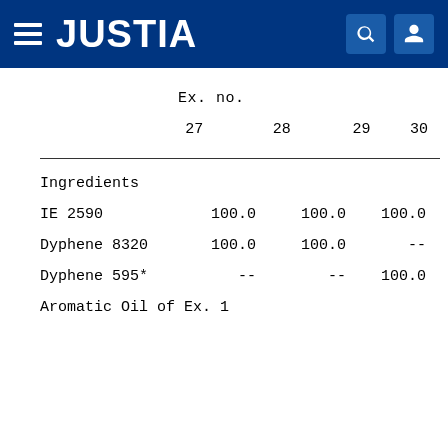JUSTIA
|  | Ex. no. |  |  |  |
| --- | --- | --- | --- | --- |
|  | 27 | 28 | 29 | 30 |
| Ingredients |  |  |  |  |
| IE 2590 | 100.0 | 100.0 | 100.0 | 10... |
| Dyphene 8320 | 100.0 | 100.0 | -- | 10... |
| Dyphene 595* | -- | -- | 100.0 | -- |
| Aromatic Oil of Ex. 1 |  |  |  |  |